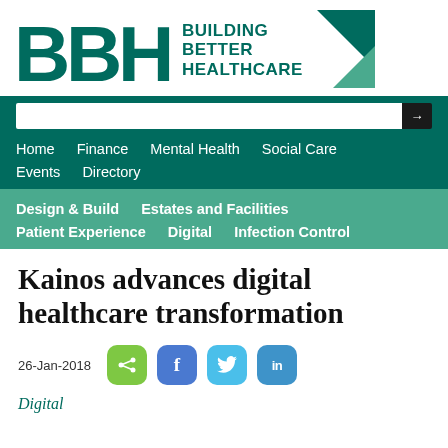[Figure (logo): BBH Building Better Healthcare logo with teal letters BBH and triangle graphic]
Home   Finance   Mental Health   Social Care   Events   Directory
Design & Build   Estates and Facilities   Patient Experience   Digital   Infection Control
Kainos advances digital healthcare transformation
26-Jan-2018
Digital